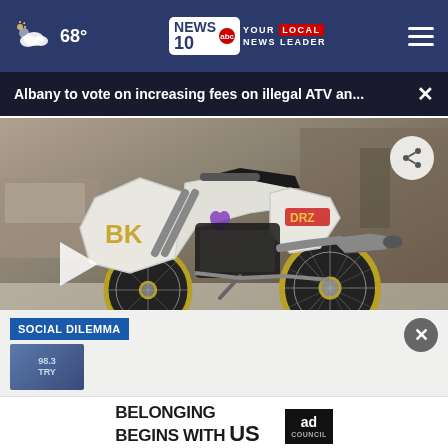68° NEWS10 abc YOUR LOCAL NEWS LEADER
Albany to vote on increasing fees on illegal ATV an...
[Figure (photo): A white motorcycle/dirt bike with gold wheels parked in a garage or shop, with a purple ribbon sticker on the fairing. The bike has aftermarket exhaust and custom fairings with logo markings.]
YOU BELIEVE SHE WAS RIGHT.
SOCIAL DILEMMA
[Figure (photo): Small thumbnail image with radio station logo 98.3 TRY]
[Figure (infographic): Ad banner: BELONGING BEGINS WITH US with Ad Council logo]
KELLY